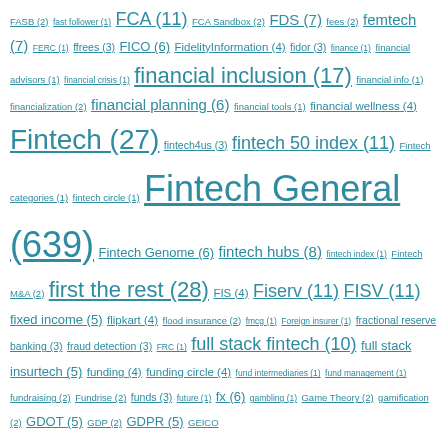FASB (2) fast follower (1) FCA (11) FCA Sandbox (2) FDS (7) fees (2) femtech (7) FERC (1) ffrees (3) FICO (6) FidelityInformation (4) fidor (3) finance (1) financial advisors (1) financial crisis (1) financial inclusion (17) financial info (1) financialization (2) financial planning (6) financial tools (1) financial wellness (4) Fintech (27) fintech4us (3) fintech 50 index (11) Fintech categories (1) fintech circle (1) Fintech General (639) Fintech Genome (6) fintech hubs (8) fintech index (1) Fintech M&A (2) first the rest (28) FIS (4) Fiserv (11) FISV (11) fixed income (5) flipkart (4) flood insurance (2) fmcg (1) Foreign insurer (1) fractional reserve banking (3) fraud detection (3) FRC (1) full stack fintech (10) full stack insurtech (5) funding (4) funding circle (4) fund intermediaries (1) fund management (1) fundraising (2) Fundrise (2) funds (3) future (1) fx (6) gambling (1) Game Theory (2) gamification (2) GDOT (5) GDP (2) GDPR (5) GEICO